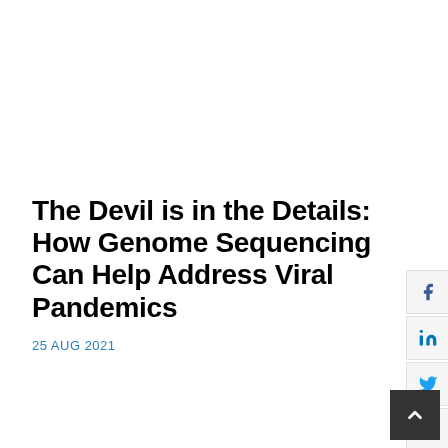The Devil is in the Details: How Genome Sequencing Can Help Address Viral Pandemics
25 AUG 2021